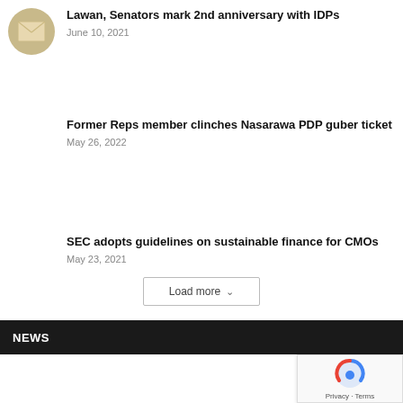[Figure (illustration): Circular envelope/mail icon with tan/gold background]
Lawan, Senators mark 2nd anniversary with IDPs
June 10, 2021
Former Reps member clinches Nasarawa PDP guber ticket
May 26, 2022
SEC adopts guidelines on sustainable finance for CMOs
May 23, 2021
Load more
NEWS
[Figure (logo): Google reCAPTCHA widget with Privacy and Terms links]